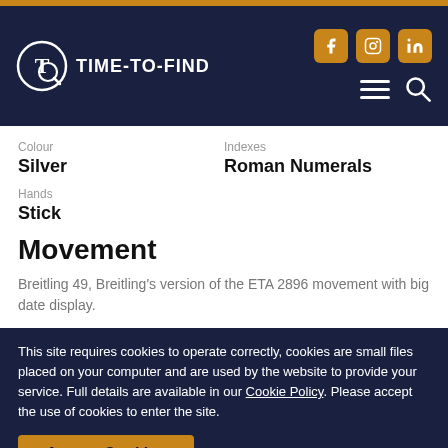TIME-TO-FIND
Colour: Silver
Indexes: Roman Numerals
Hands: Stick
Movement
Breitling 49, Breitling's version of the ETA 2896 movement with big date display.
This site requires cookies to operate correctly, cookies are small files placed on your computer and are used by the website to provide your service. Full details are available in our Cookie Policy. Please accept the use of cookies to enter the site.
Accept Cookies